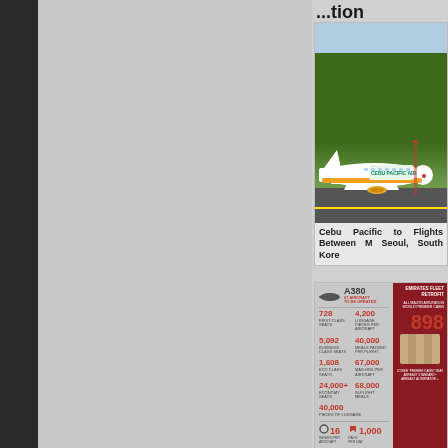...tion
[Figure (photo): Cebu Pacific airplane on runway with green background]
Cebu Pacific to Flights Between M Seoul, South Kore
[Figure (infographic): Emirates Fleet Retrofit infographic showing A380 statistics: 67 aircraft to be updated, 728 first class seats, 4200 pieces of luggage, 5092 business class seats, 40000 meals, 1608 eco seats, 67000 hours, 24000+ economy seats, 68000 in-flight meals, 40000 pieces of luggage, 16 weeks per aircraft, 1000 days total, 898 seats]
Emirates' Retrofit 100 1000